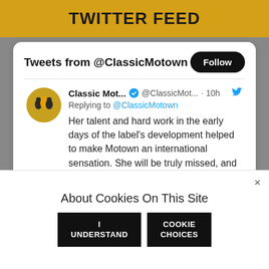TWITTER FEED
Tweets from @ClassicMotown
Classic Mot... @ClassicMot... · 10h
Replying to @ClassicMotown
Her talent and hard work in the early days of the label's development helped to make Motown an international sensation. She will be truly missed, and our hearts go out to her family, friends, and fans across the world.
[Figure (photo): Two black and white portrait photos of a person, cropped to show head and upper shoulders]
About Cookies On This Site
I UNDERSTAND
COOKIE CHOICES